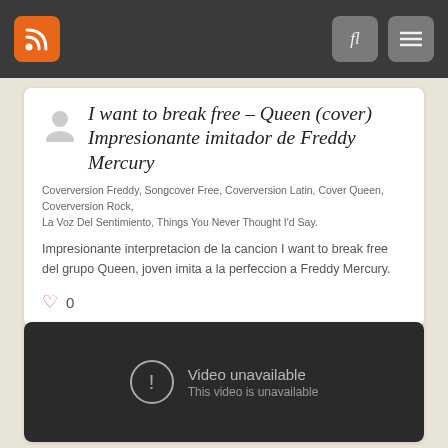RSS feed header with search and menu icons
I want to break free – Queen (cover) Impresionante imitador de Freddy Mercury
Coverversion Freddy, Songcover Free, Coverversion Latin, Cover Queen, Coverversion Rock, La Voz Del Sentimiento, Things You Never Thought I'd Say.
Impresionante interpretacion de la cancion I want to break free del grupo Queen, joven imita a la perfeccion a Freddy Mercury.
0
[Figure (screenshot): Video unavailable placeholder — dark background with circular warning icon, text reading 'Video unavailable' and 'This video is unavailable']